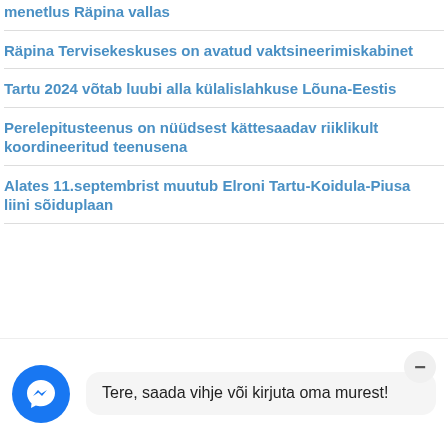menetlus Räpina vallas
Räpina Tervisekeskuses on avatud vaktsineerimiskabinet
Tartu 2024 võtab luubi alla külalislahkuse Lõuna-Eestis
Perelepitusteenus on nüüdsest kättesaadav riiklikult koordineeritud teenusena
Alates 11.septembrist muutub Elroni Tartu-Koidula-Piusa liini sõiduplaan
Tere, saada vihje või kirjuta oma murest!